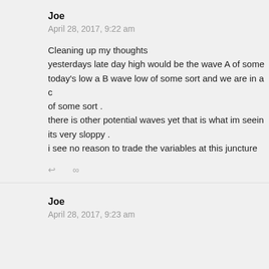Joe
April 28, 2017, 9:22 am
Cleaning up my thoughts
yesterdays late day high would be the wave A of some today's low a B wave low of some sort and we are in a of some sort .
there is other potential waves yet that is what im seein its very sloppy .
i see no reason to trade the variables at this juncture
↩   ∞
Joe
April 28, 2017, 9:23 am